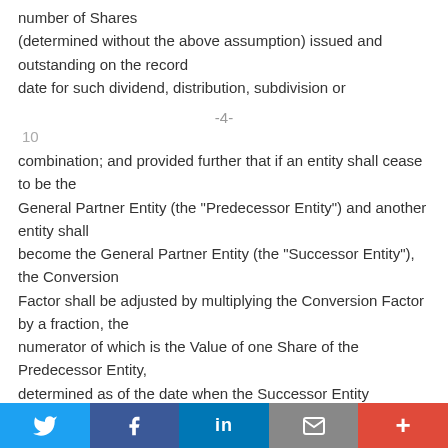number of Shares (determined without the above assumption) issued and outstanding on the record date for such dividend, distribution, subdivision or
-4-
10
combination; and provided further that if an entity shall cease to be the General Partner Entity (the "Predecessor Entity") and another entity shall become the General Partner Entity (the "Successor Entity"), the Conversion Factor shall be adjusted by multiplying the Conversion Factor by a fraction, the numerator of which is the Value of one Share of the Predecessor Entity, determined as of the date when the Successor Entity becomes the General Partner